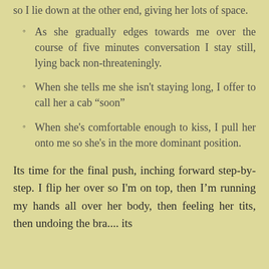so I lie down at the other end, giving her lots of space.
As she gradually edges towards me over the course of five minutes conversation I stay still, lying back non-threateningly.
When she tells me she isn't staying long, I offer to call her a cab “soon”
When she's comfortable enough to kiss, I pull her onto me so she's in the more dominant position.
Its time for the final push, inching forward step-by-step. I flip her over so I'm on top, then I’m running my hands all over her body, then feeling her tits, then undoing the bra.... its